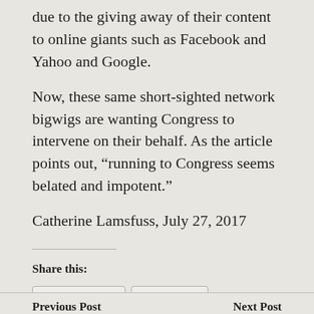due to the giving away of their content to online giants such as Facebook and Yahoo and Google.
Now, these same short-sighted network bigwigs are wanting Congress to intervene on their behalf. As the article points out, “running to Congress seems belated and impotent.”
Catherine Lamsfuss, July 27, 2017
Share this:
Facebook
Twitter
Send to Kindle
LinkedIn
More
Previous Post    Next Post